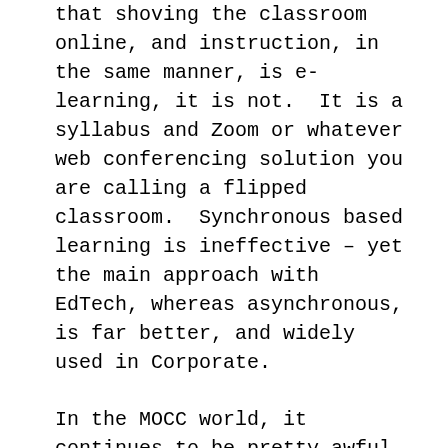that shoving the classroom online, and instruction, in the same manner, is e-learning, it is not.  It is a syllabus and Zoom or whatever web conferencing solution you are calling a flipped classroom.  Synchronous based learning is ineffective – yet the main approach with EdTech, whereas asynchronous, is far better, and widely used in Corporate.
In the MOCC world, it continues to be pretty awful in terms of completion rates, although folks still swarm to it as though being free ensures wonderful content.
Two big aggregators of content folks can take, Coursera and Udemy made huge strides and sales.  I still wouldn't use them, but if that is where you see your learning coming from, then go for it.  If you are going this